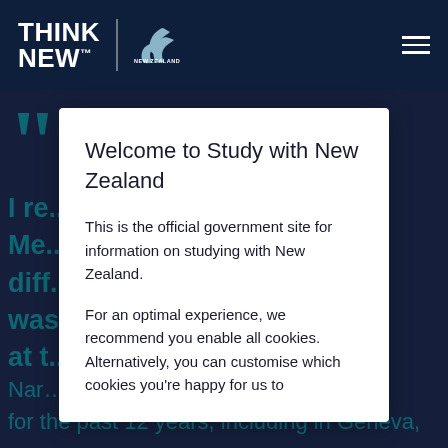THINK NEW | NEW ZEALAND EDUCATION
[Figure (screenshot): New Zealand Education 'Think New' logo with silver fern in top navigation bar]
I re... Me... diff... was... at t...
Welcome to Study with New Zealand
This is the official government site for information on studying with New Zealand.
For an optimal experience, we recommend you enable all cookies. Alternatively, you can customise which cookies you're happy for us to
Nar... for the past 12 years, including in Geneva,